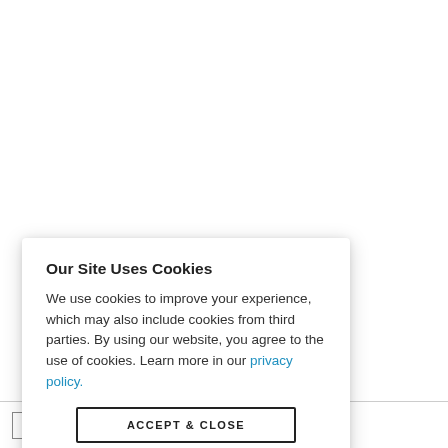Our Site Uses Cookies
We use cookies to improve your experience, which may also include cookies from third parties. By using our website, you agree to the use of cookies. Learn more in our privacy policy.
ACCEPT & CLOSE
y 12, 2021
TODAY  < PREVIOUS  NEXT >